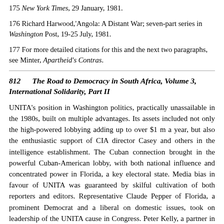175 New York Times, 29 January, 1981.
176 Richard Harwood,'Angola: A Distant War; seven-part series in Washington Post, 19-25 July, 1981.
177 For more detailed citations for this and the next two paragraphs, see Minter, Apartheid’s Contras.
812     The Road to Democracy in South Africa, Volume 3, International Solidarity, Part II
UNITA's position in Washington politics, practically unassailable in the 1980s, built on multiple advantages. Its assets included not only the high-powered lobbying adding up to over $1 m a year, but also the enthusiastic support of CIA director Casey and others in the intelligence establishment. The Cuban connection brought in the powerful Cuban-American lobby, with both national influence and concentrated power in Florida, a key electoral state. Media bias in favour of UNITA was guaranteed by skilful cultivation of both reporters and editors. Representative Claude Pepper of Florida, a prominent Democrat and a liberal on domestic issues, took on leadership of the UNITA cause in Congress. Peter Kelly, a partner in UNITAs principal lobbying firm, was a leading